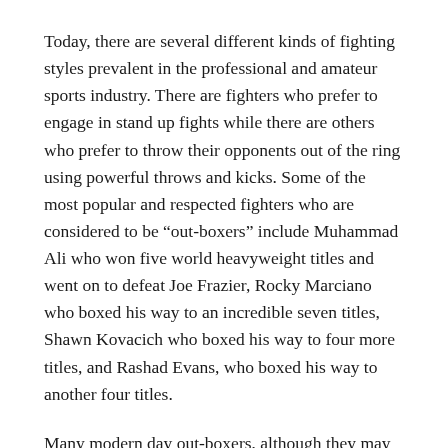Today, there are several different kinds of fighting styles prevalent in the professional and amateur sports industry. There are fighters who prefer to engage in stand up fights while there are others who prefer to throw their opponents out of the ring using powerful throws and kicks. Some of the most popular and respected fighters who are considered to be “out-boxers” include Muhammad Ali who won five world heavyweight titles and went on to defeat Joe Frazier, Rocky Marciano who boxed his way to an incredible seven titles, Shawn Kovacich who boxed his way to four more titles, and Rashad Evans, who boxed his way to another four titles.
Many modern day out-boxers, although they may take the gloves off before engaging in the ring, still use their hands and forearms to ward off their opponents. This is because they want to throw their